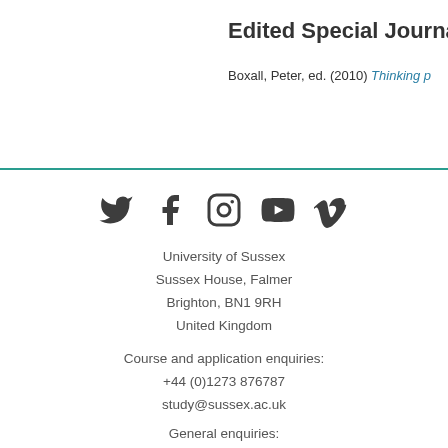Edited Special Journa
Boxall, Peter, ed. (2010) Thinking p
[Figure (infographic): Social media icons: Twitter, Facebook, Instagram, YouTube, Vimeo]
University of Sussex
Sussex House, Falmer
Brighton, BN1 9RH
United Kingdom
Course and application enquiries:
+44 (0)1273 876787
study@sussex.ac.uk
General enquiries:
+44 (0)1273 606755
information@sussex.ac.uk
Copyright ©, University of Sussex